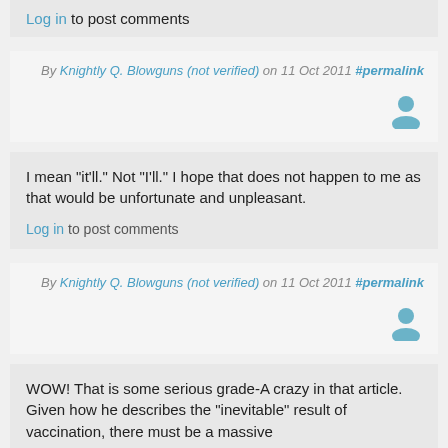Log in to post comments
By Knightly Q. Blowguns (not verified) on 11 Oct 2011 #permalink
[Figure (illustration): User avatar icon in blue/grey]
I mean "it'll." Not "I'll." I hope that does not happen to me as that would be unfortunate and unpleasant.
Log in to post comments
By Knightly Q. Blowguns (not verified) on 11 Oct 2011 #permalink
[Figure (illustration): User avatar icon in blue/grey]
WOW! That is some serious grade-A crazy in that article. Given how he describes the "inevitable" result of vaccination, there must be a massive